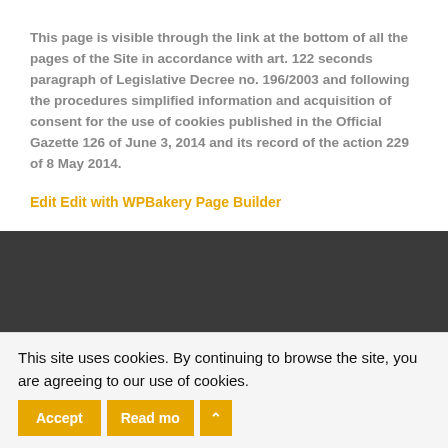This page is visible through the link at the bottom of all the pages of the Site in accordance with art. 122 seconds paragraph of Legislative Decree no. 196/2003 and following the procedures simplified information and acquisition of consent for the use of cookies published in the Official Gazette 126 of June 3, 2014 and its record of the action 229 of 8 May 2014.
Edit Edit with WPBakery Page Builder
[Figure (logo): Officina logo with gear icon and red text on dark background]
This site uses cookies. By continuing to browse the site, you are agreeing to our use of cookies.